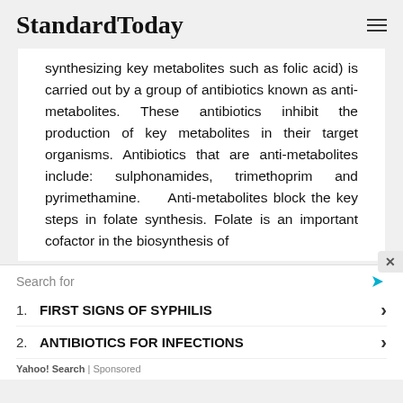StandardToday
synthesizing key metabolites such as folic acid) is carried out by a group of antibiotics known as anti-metabolites. These antibiotics inhibit the production of key metabolites in their target organisms. Antibiotics that are anti-metabolites include: sulphonamides, trimethoprim and pyrimethamine. Anti-metabolites block the key steps in folate synthesis. Folate is an important cofactor in the biosynthesis of
Search for
1. FIRST SIGNS OF SYPHILIS
2. ANTIBIOTICS FOR INFECTIONS
Yahoo! Search | Sponsored